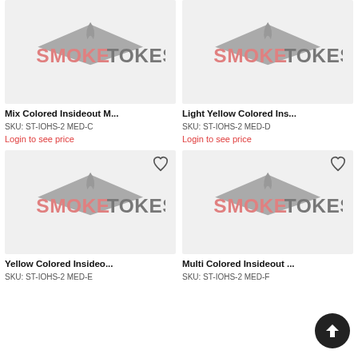[Figure (logo): SmokeTokes brand logo on grey background - product card 1 (Mix Colored Insideout M...)]
Mix Colored Insideout M...
SKU: ST-IOHS-2 MED-C
Login to see price
[Figure (logo): SmokeTokes brand logo on grey background - product card 2 (Light Yellow Colored Ins...)]
Light Yellow Colored Ins...
SKU: ST-IOHS-2 MED-D
Login to see price
[Figure (logo): SmokeTokes brand logo on grey background - product card 3 (Yellow Colored Insideo...)]
Yellow Colored Insideo...
SKU: ST-IOHS-2 MED-E
[Figure (logo): SmokeTokes brand logo on grey background - product card 4 (Multi Colored Insideout ...)]
Multi Colored Insideout ...
SKU: ST-IOHS-2 MED-F